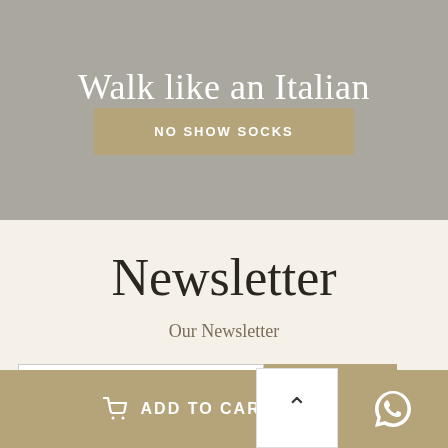Walk like an Italian
NO SHOW SOCKS
Newsletter
Our Newsletter
E-mail
SUBSCRIBE
Re...
ADD TO CART